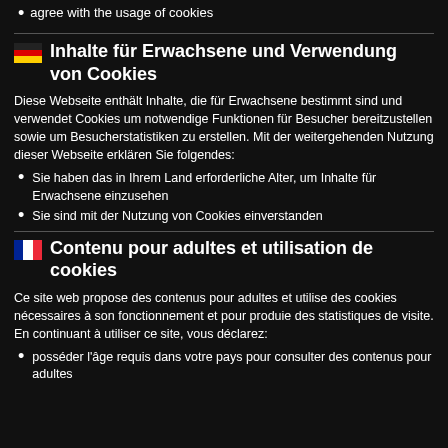agree with the usage of cookies
🇩🇪 Inhalte für Erwachsene und Verwendung von Cookies
Diese Webseite enthält Inhalte, die für Erwachsene bestimmt sind und verwendet Cookies um notwendige Funktionen für Besucher bereitzustellen sowie um Besucherstatistiken zu erstellen. Mit der weitergehenden Nutzung dieser Webseite erklären Sie folgendes:
Sie haben das in Ihrem Land erforderliche Alter, um Inhalte für Erwachsene einzusehen
Sie sind mit der Nutzung von Cookies einverstanden
🇫🇷 Contenu pour adultes et utilisation de cookies
Ce site web propose des contenus pour adultes et utilise des cookies nécessaires à son fonctionnement et pour produie des statistiques de visite. En continuant à utiliser ce site, vous déclarez:
posséder l'âge requis dans votre pays pour consulter des contenus pour adultes